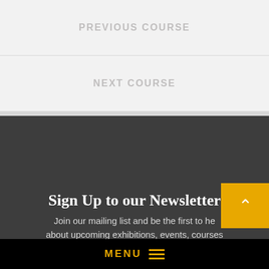PREVIOUS COURSE
NEXT COURSE
Sign Up to our Newsletter
Join our mailing list and be the first to hear about upcoming exhibitions, events, courses
MENU